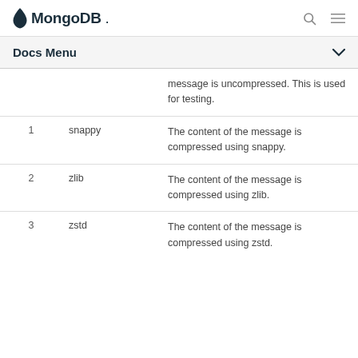MongoDB
Docs Menu
|  |  |  |
| --- | --- | --- |
|  |  | message is uncompressed. This is used for testing. |
| 1 | snappy | The content of the message is compressed using snappy. |
| 2 | zlib | The content of the message is compressed using zlib. |
| 3 | zstd | The content of the message is compressed using zstd. |